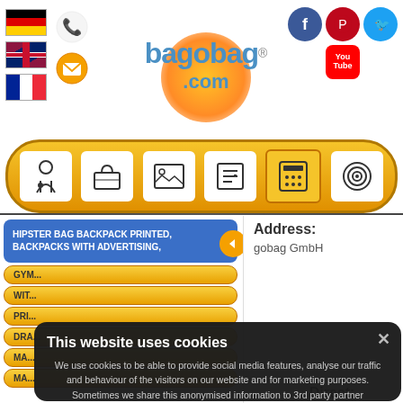[Figure (screenshot): bagobag.com website header with logo, flag icons (German, UK, French), contact icons, social media icons (Facebook, Pinterest, Twitter, YouTube), and navigation bar with icons]
Address:
gobag GmbH
HIPSTER BAG BACKPACK PRINTED, BACKPACKS WITH ADVERTISING,
GYM...
WIT...
PRI...
DRA...
MA...
MA...
This website uses cookies
We use cookies to be able to provide social media features, analyse our traffic and behaviour of the visitors on our website and for marketing purposes. Sometimes we share this anonymised information to 3rd party partner companies. More information
I accept all Cookies
Direct: